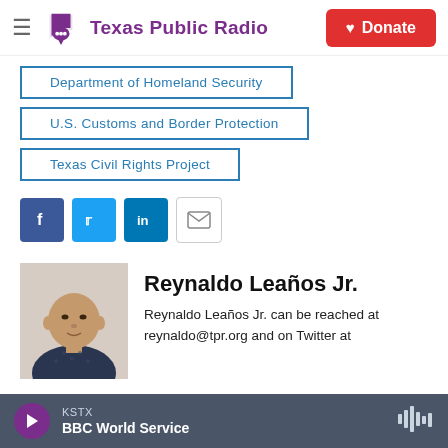Texas Public Radio — Donate
Department of Homeland Security
U.S. Customs and Border Protection
Texas Civil Rights Project
[Figure (infographic): Social sharing icons: Facebook, Twitter, LinkedIn, Email]
[Figure (photo): Headshot of Reynaldo Leaños Jr., a bald man in a dark patterned shirt, against a white background]
Reynaldo Leaños Jr.
Reynaldo Leaños Jr. can be reached at reynaldo@tpr.org and on Twitter at
KSTX — BBC World Service (audio player)